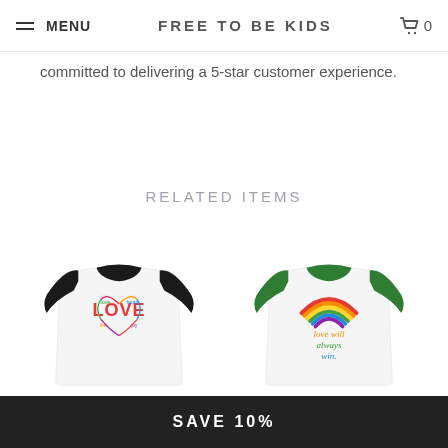MENU  FREE TO BE KIDS  0
committed to delivering a 5-star customer experience.
RELATED ITEMS
[Figure (photo): Black raglan baseball tee with colorful LOVE heart graphic design]
[Figure (photo): Green raglan baseball tee with rainbow and 'love will always win.' graphic]
SAVE 10%